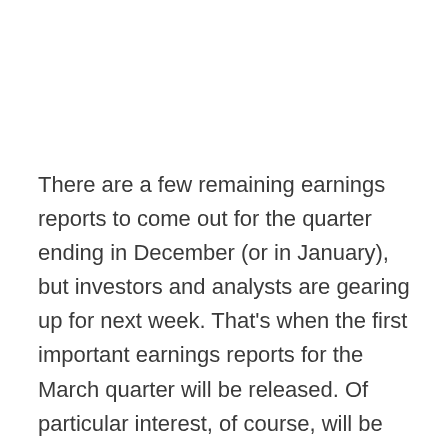There are a few remaining earnings reports to come out for the quarter ending in December (or in January), but investors and analysts are gearing up for next week. That’s when the first important earnings reports for the March quarter will be released. Of particular interest, of course, will be the reports from the nation’s big banks.
We have three earnings reports due